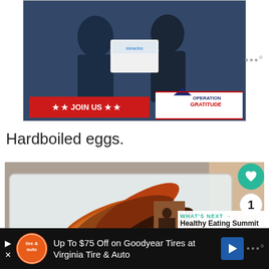[Figure (photo): Advertisement banner showing two people in military uniforms exchanging a white box, with a red 'JOIN US' banner and 'Operation Gratitude' logo overlay]
Hardboiled eggs.
[Figure (photo): Photo of roasted sweet potato slices in a white plastic container with two hardboiled eggs in the foreground, on a granite surface. Overlaid with heart/like button (1 like), share button, and a 'WHAT'S NEXT → Healthy Eating Summit' panel.]
[Figure (photo): Advertisement: 'Up To $75 Off on Goodyear Tires at Virginia Tire & Auto' with tire & auto logo and blue arrow icon on a black background]